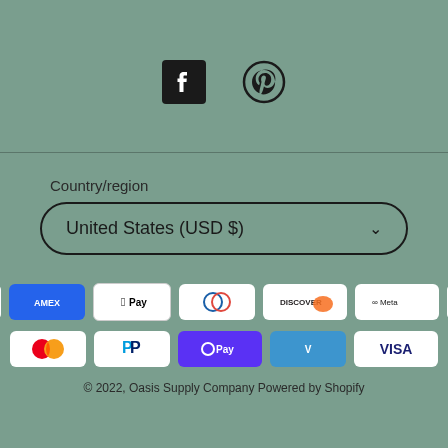[Figure (other): Social media icons: Facebook and Pinterest]
Country/region
United States (USD $)
[Figure (other): Payment method icons: Amazon, Amex, Apple Pay, Diners Club, Discover, Meta Pay, Google Pay, Mastercard, PayPal, Shop Pay, Venmo, Visa]
© 2022, Oasis Supply Company Powered by Shopify